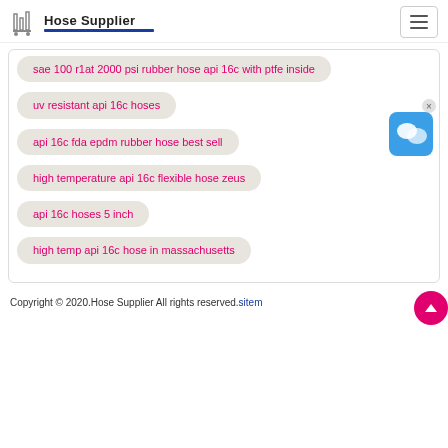Hose Supplier
sae 100 r1at 2000 psi rubber hose api 16c with ptfe inside
uv resistant api 16c hoses
api 16c fda epdm rubber hose best sell
high temperature api 16c flexible hose zeus
api 16c hoses 5 inch
high temp api 16c hose in massachusetts
Copyright © 2020.Hose Supplier All rights reserved.sitem